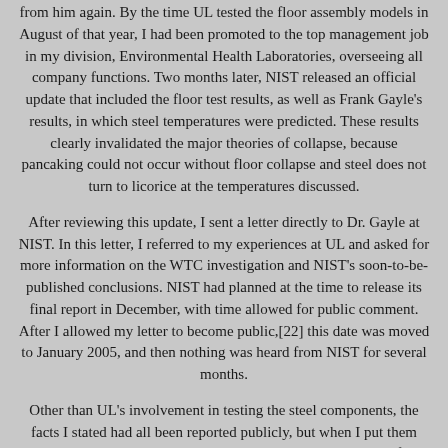from him again. By the time UL tested the floor assembly models in August of that year, I had been promoted to the top management job in my division, Environmental Health Laboratories, overseeing all company functions. Two months later, NIST released an official update that included the floor test results, as well as Frank Gayle's results, in which steel temperatures were predicted. These results clearly invalidated the major theories of collapse, because pancaking could not occur without floor collapse and steel does not turn to licorice at the temperatures discussed.
After reviewing this update, I sent a letter directly to Dr. Gayle at NIST. In this letter, I referred to my experiences at UL and asked for more information on the WTC investigation and NIST's soon-to-be-published conclusions. NIST had planned at the time to release its final report in December, with time allowed for public comment. After I allowed my letter to become public,[22] this date was moved to January 2005, and then nothing was heard from NIST for several months.
Other than UL's involvement in testing the steel components, the facts I stated had all been reported publicly, but when I put them together plainly, they were considered outrageous. Five days after I sent my letter, I was fired by UL for doing so. The company made a few brief statements in an attempt